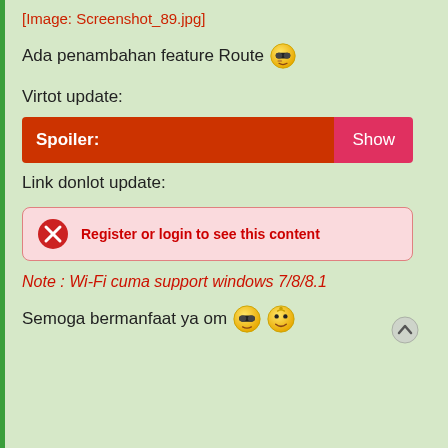[Image: Screenshot_89.jpg]
Ada penambahan feature Route 😎
Virtot update:
Spoiler: Show
Link donlot update:
Register or login to see this content
Note : Wi-Fi cuma support windows 7/8/8.1
Semoga bermanfaat ya om 😎 😎